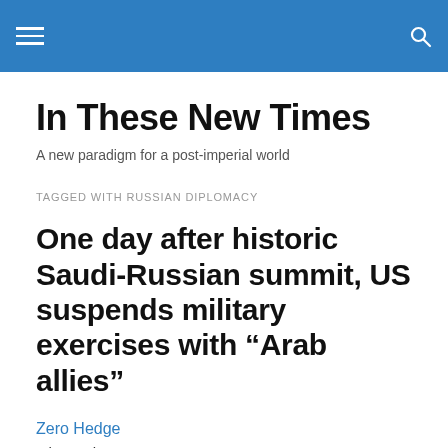In These New Times — navigation header with hamburger menu and search icon
In These New Times
A new paradigm for a post-imperial world
TAGGED WITH RUSSIAN DIPLOMACY
One day after historic Saudi-Russian summit, US suspends military exercises with “Arab allies”
Zero Hedge
5th October 2017